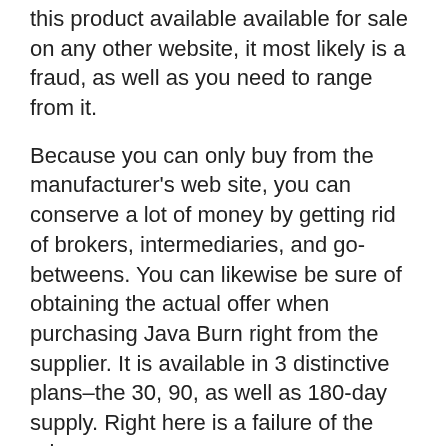this product available available for sale on any other website, it most likely is a fraud, as well as you need to range from it.
Because you can only buy from the manufacturer's web site, you can conserve a lot of money by getting rid of brokers, intermediaries, and go-betweens. You can likewise be sure of obtaining the actual offer when purchasing Java Burn right from the supplier. It is available in 3 distinctive plans–the 30, 90, as well as 180-day supply. Right here is a failure of the prices:.
30-day (1 bag) supply– $49 + delivery.
90-day (3 bags) supply– $102 + delivery.
180-day (6 bags) supply– $174 + shipping.